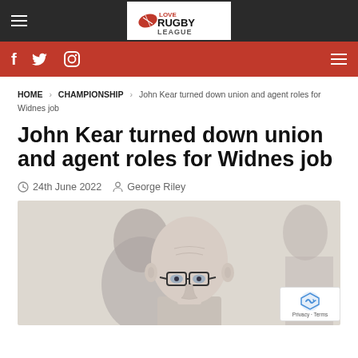Love Rugby League
HOME > CHAMPIONSHIP > John Kear turned down union and agent roles for Widnes job
John Kear turned down union and agent roles for Widnes job
24th June 2022  George Riley
[Figure (photo): Photo of John Kear, a bald man wearing black-framed glasses, with another person blurred in the background]